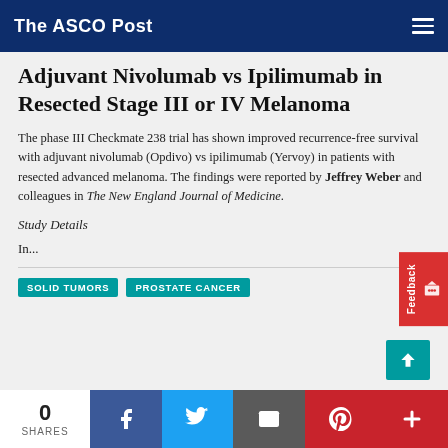The ASCO Post
Adjuvant Nivolumab vs Ipilimumab in Resected Stage III or IV Melanoma
The phase III Checkmate 238 trial has shown improved recurrence-free survival with adjuvant nivolumab (Opdivo) vs ipilimumab (Yervoy) in patients with resected advanced melanoma. The findings were reported by Jeffrey Weber and colleagues in The New England Journal of Medicine.
Study Details
In...
SOLID TUMORS   PROSTATE CANCER